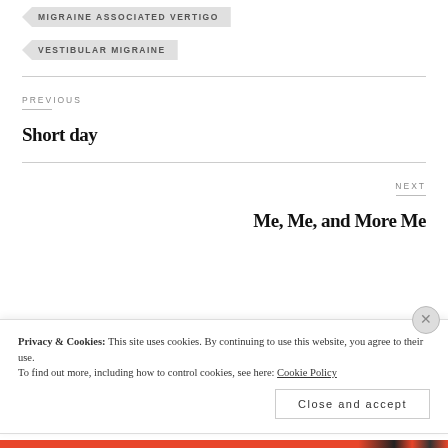MIGRAINE ASSOCIATED VERTIGO
VESTIBULAR MIGRAINE
PREVIOUS
Short day
NEXT
Me, Me, and More Me
Privacy & Cookies: This site uses cookies. By continuing to use this website, you agree to their use.
To find out more, including how to control cookies, see here: Cookie Policy
Close and accept